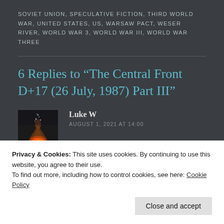SOVIET UNION, SPECULATIVE FICTION, THIRD WORLD WAR, UNITED STATES, US, WARSAW PACT, WESER RIVER, WORLD WAR 3, WORLD WAR III, WORLD WAR THREE
6 Replies to “The Central Front D+17 (26 July, 1987) Part III”
[Figure (photo): Avatar image of commenter Luke W showing a volcano erupting with sparks at night]
Luke W
AUGUST 1, 2021 AT 14:00
Ouch! Very nicely set-up … I can see the red side
Privacy & Cookies: This site uses cookies. By continuing to use this website, you agree to their use. To find out more, including how to control cookies, see here: Cookie Policy
Close and accept